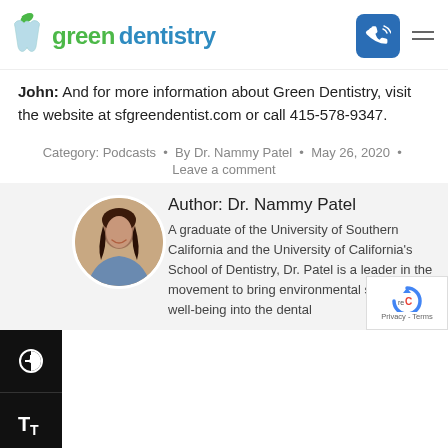[Figure (logo): Green Dentistry logo with tooth icon and phone icon]
John: And for more information about Green Dentistry, visit the website at sfgreendentist.com or call 415-578-9347.
Category: Podcasts • By Dr. Nammy Patel • May 26, 2020 • Leave a comment
[Figure (photo): Portrait photo of Dr. Nammy Patel, a woman with dark hair, smiling, in a circular crop]
Author: Dr. Nammy Patel
A graduate of the University of Southern California and the University of California's School of Dentistry, Dr. Patel is a leader in the movement to bring environmental sanity and well-being into the dental